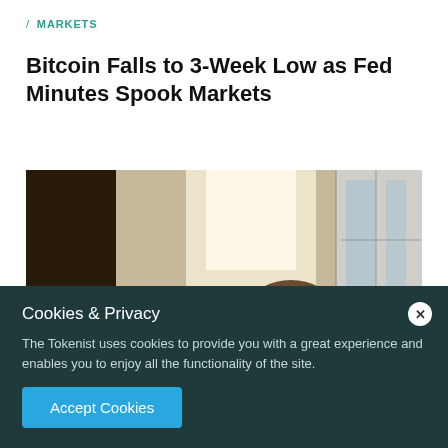/ MARKETS
Bitcoin Falls to 3-Week Low as Fed Minutes Spook Markets
[Figure (photo): Man in black shirt sitting at a desk with hand on forehead, looking stressed, with a bright window and plants in the background]
Cookies & Privacy
The Tokenist uses cookies to provide you with a great experience and enables you to enjoy all the functionality of the site.
Accept Cookies